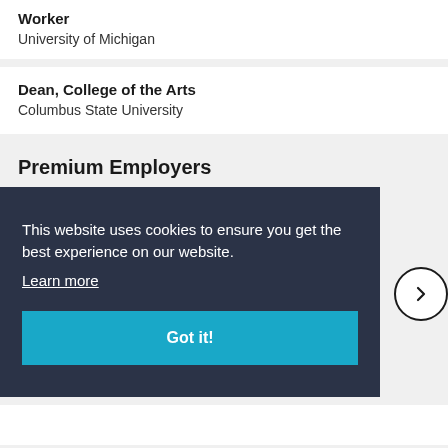Worker
University of Michigan
Dean, College of the Arts
Columbus State University
Premium Employers
This website uses cookies to ensure you get the best experience on our website.
Learn more
Got it!